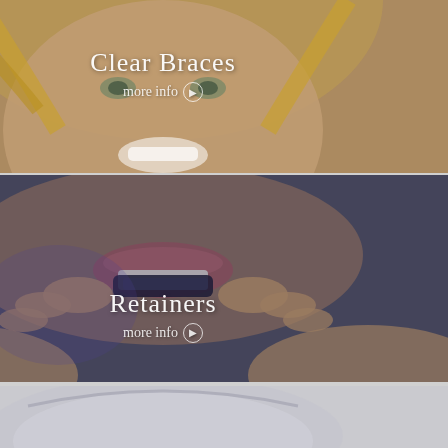[Figure (photo): Photo of a smiling blonde woman, used as background for Clear Braces panel]
Clear Braces
more info ❯
[Figure (photo): Close-up photo of a person inserting a clear retainer/aligner onto their teeth, used as background for Retainers panel]
Retainers
more info ❯
[Figure (photo): Partial photo of a clear dental retainer/aligner on a neutral background, bottom panel (partially visible)]